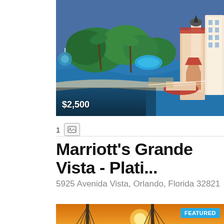[Figure (photo): Aerial view of Marriott's Grande Vista resort with waterfront, pool, palm trees, and a lighthouse-style building with red tile roof]
$2,500
1
Marriott's Grande Vista - Plati...
5925 Avenida Vista, Orlando, Florida 32821
[Figure (photo): Sunset photo of a cable-stayed bridge with golden sky, with a FEATURED badge]